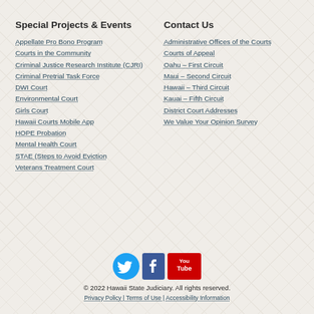Special Projects & Events
Appellate Pro Bono Program
Courts in the Community
Criminal Justice Research Institute (CJRI)
Criminal Pretrial Task Force
DWI Court
Environmental Court
Girls Court
Hawaii Courts Mobile App
HOPE Probation
Mental Health Court
STAE (Steps to Avoid Eviction
Veterans Treatment Court
Contact Us
Administrative Offices of the Courts
Courts of Appeal
Oahu – First Circuit
Maui – Second Circuit
Hawaii – Third Circuit
Kauai – Fifth Circuit
District Court Addresses
We Value Your Opinion Survey
[Figure (infographic): Social media icons for Twitter, Facebook, and YouTube]
© 2022 Hawaii State Judiciary. All rights reserved.
Privacy Policy | Terms of Use | Accessibility Information